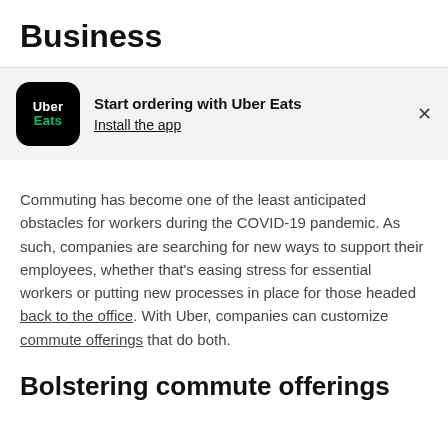Business
[Figure (logo): Uber Eats app icon: black rounded square with 'Uber' in white and 'Eats' in green, alongside banner text 'Start ordering with Uber Eats / Install the app' with a close (×) button, on a light grey background.]
Commuting has become one of the least anticipated obstacles for workers during the COVID-19 pandemic. As such, companies are searching for new ways to support their employees, whether that's easing stress for essential workers or putting new processes in place for those headed back to the office. With Uber, companies can customize commute offerings that do both.
Bolstering commute offerings